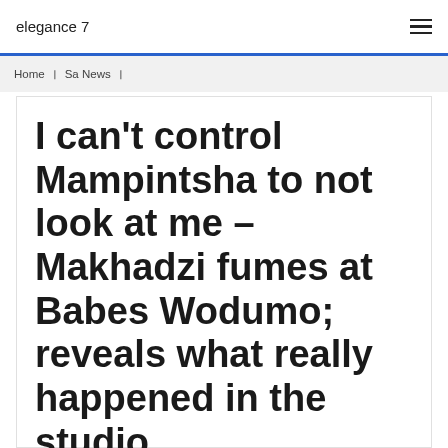elegance 7
Home  ❯  Sa News  ❯
I can't control Mampintsha to not look at me – Makhadzi fumes at Babes Wodumo; reveals what really happened in the studio